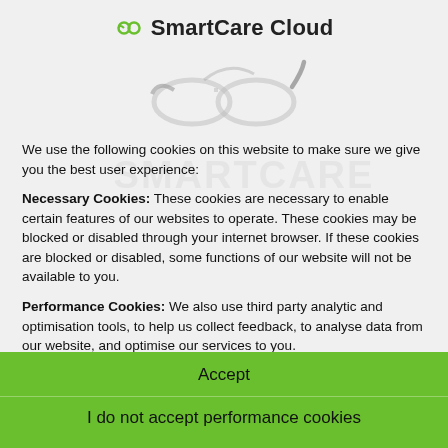SmartCare Cloud
[Figure (illustration): Decorative illustration of glasses/spectacles in light gray tones]
We use the following cookies on this website to make sure we give you the best user experience:
Necessary Cookies: These cookies are necessary to enable certain features of our websites to operate. These cookies may be blocked or disabled through your internet browser. If these cookies are blocked or disabled, some functions of our website will not be available to you.
Performance Cookies: We also use third party analytic and optimisation tools, to help us collect feedback, to analyse data from our website, and optimise our services to you.
For more detailed information about the cookies we use, see our Cookie Policy
Accept
I do not accept performance cookies